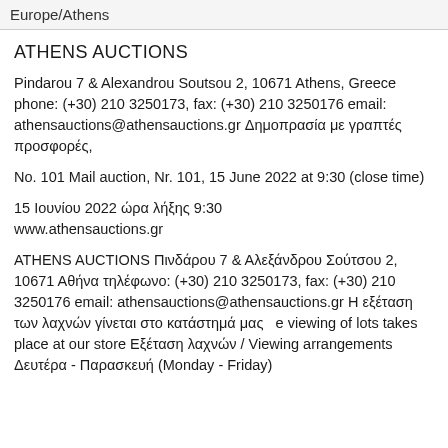Europe/Athens
ATHENS AUCTIONS
Pindarou 7 & Alexandrou Soutsou 2, 10671 Athens, Greece phone: (+30) 210 3250173, fax: (+30) 210 3250176 email: athensauctions@athensauctions.gr Δημοπρασία με γραπτές προσφορές,
No. 101 Mail auction, Nr. 101, 15 June 2022 at 9:30 (close time)
15 Ιουνίου 2022 ώρα λήξης 9:30
www.athensauctions.gr
ATHENS AUCTIONS Πινδάρου 7 & Αλεξάνδρου Σούτσου 2, 10671 Αθήνα τηλέφωνο: (+30) 210 3250173, fax: (+30) 210 3250176 email: athensauctions@athensauctions.gr Η εξέταση των λαχνών γίνεται στο κατάστημά μας   e viewing of lots takes place at our store Εξέταση λαχνών / Viewing arrangements Δευτέρα - Παρασκευή (Monday - Friday)